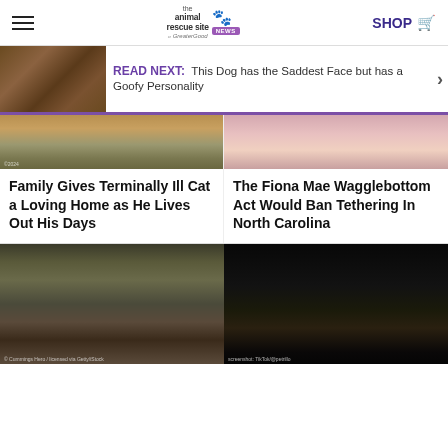The Animal Rescue Site News — SHOP
READ NEXT: This Dog has the Saddest Face but has a Goofy Personality
Family Gives Terminally Ill Cat a Loving Home as He Lives Out His Days
The Fiona Mae Wagglebottom Act Would Ban Tethering In North Carolina
[Figure (photo): Wet dog standing near pool]
[Figure (photo): Animal at night in headlights on road]